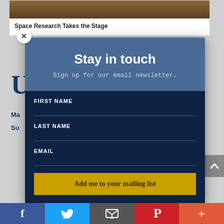Space Research Takes the Stage
Stay in touch
Sign up for our email newsletter.
FIRST NAME
LAST NAME
EMAIL
Add me to your mailing list
f  [Twitter bird]  [Email icon]  [Pinterest P]  +